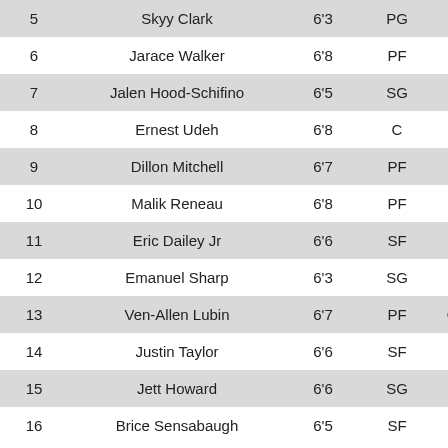| # | Name | Ht | Pos | Team |
| --- | --- | --- | --- | --- |
| 5 | Skyy Clark | 6'3 | PG | Mo... |
| 6 | Jarace Walker | 6'8 | PF |  |
| 7 | Jalen Hood-Schifino | 6'5 | SG | Mo... |
| 8 | Ernest Udeh | 6'8 | C |  |
| 9 | Dillon Mitchell | 6'7 | PF | Mo... |
| 10 | Malik Reneau | 6'8 | PF | Mo... |
| 11 | Eric Dailey Jr | 6'6 | SF |  |
| 12 | Emanuel Sharp | 6'3 | SG | Bi... |
| 13 | Ven-Allen Lubin | 6'7 | PF | Orla... |
| 14 | Justin Taylor | 6'6 | SF | IM... |
| 15 | Jett Howard | 6'6 | SG |  |
| 16 | Brice Sensabaugh | 6'5 | SF | La... |